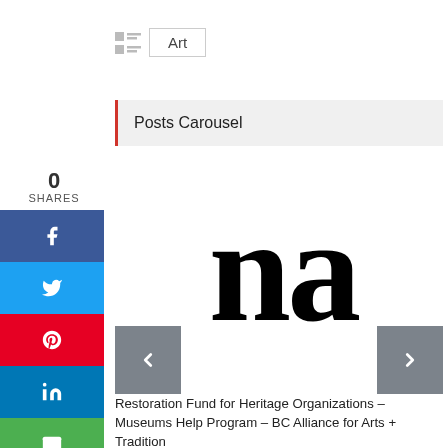Art
Posts Carousel
[Figure (screenshot): Carousel image showing large serif letters 'na' in black on white background, with left and right navigation arrows at the bottom]
Restoration Fund for Heritage Organizations – Museums Help Program – BC Alliance for Arts + Tradition